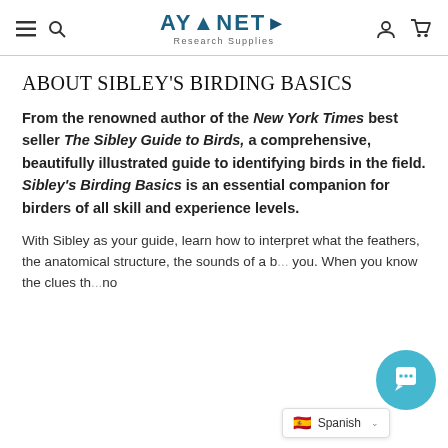AYINETA Research Supplies
ABOUT SIBLEY'S BIRDING BASICS
From the renowned author of the New York Times best seller The Sibley Guide to Birds, a comprehensive, beautifully illustrated guide to identifying birds in the field. Sibley's Birding Basics is an essential companion for birders of all skill and experience levels.
With Sibley as your guide, learn how to interpret what the feathers, the anatomical structure, the sounds of a b... you. When you know the clues th... no